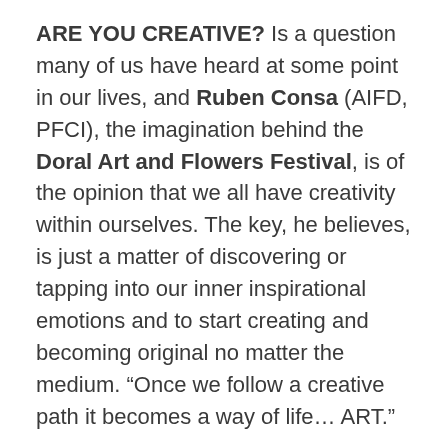ARE YOU CREATIVE? Is a question many of us have heard at some point in our lives, and Ruben Consa (AIFD, PFCI), the imagination behind the Doral Art and Flowers Festival, is of the opinion that we all have creativity within ourselves. The key, he believes, is just a matter of discovering or tapping into our inner inspirational emotions and to start creating and becoming original no matter the medium. “Once we follow a creative path it becomes a way of life… ART.”
The term creativity carries a kind of mystical aura, its special power imbued with a touch of the divine. After all, creativity supplies the first verb of the Bible “In the beginning, God created…” Don’t be too awed by the wonder of creativity… even a Van